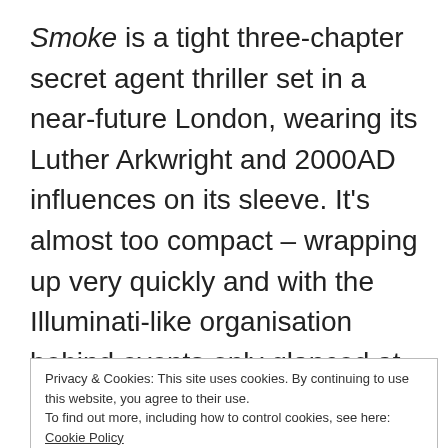Smoke is a tight three-chapter secret agent thriller set in a near-future London, wearing its Luther Arkwright and 2000AD influences on its sleeve. It's almost too compact – wrapping up very quickly and with the Illuminati-like organisation behind events only glanced at. It's a little rough around the edges (Americanisms keep slipping into the dialogue of what one assumes are supposed to be Londoners), but De Campi does
Privacy & Cookies: This site uses cookies. By continuing to use this website, you agree to their use.
To find out more, including how to control cookies, see here: Cookie Policy
Close and accept